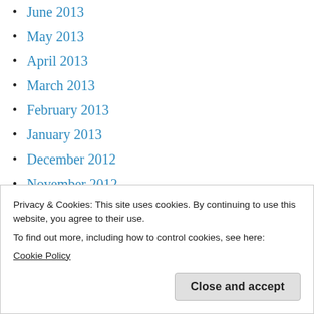June 2013
May 2013
April 2013
March 2013
February 2013
January 2013
December 2012
November 2012
October 2012
September 2012
August 2012
Privacy & Cookies: This site uses cookies. By continuing to use this website, you agree to their use.
To find out more, including how to control cookies, see here:
Cookie Policy
[Close and accept]
February...